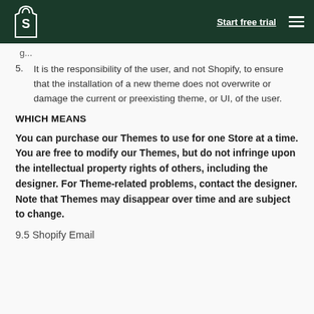Start free trial
5. It is the responsibility of the user, and not Shopify, to ensure that the installation of a new theme does not overwrite or damage the current or preexisting theme, or UI, of the user.
WHICH MEANS
You can purchase our Themes to use for one Store at a time. You are free to modify our Themes, but do not infringe upon the intellectual property rights of others, including the designer. For Theme-related problems, contact the designer. Note that Themes may disappear over time and are subject to change.
9.5 Shopify Email